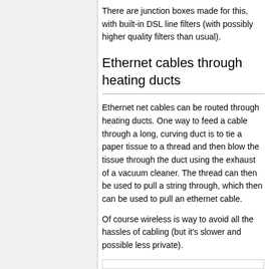There are junction boxes made for this, with built-in DSL line filters (with possibly higher quality filters than usual).
Ethernet cables through heating ducts
Ethernet net cables can be routed through heating ducts. One way to feed a cable through a long, curving duct is to tie a paper tissue to a thread and then blow the tissue through the duct using the exhaust of a vacuum cleaner. The thread can then be used to pull a string through, which then can be used to pull an ethernet cable.
Of course wireless is way to avoid all the hassles of cabling (but it's slower and possible less private).